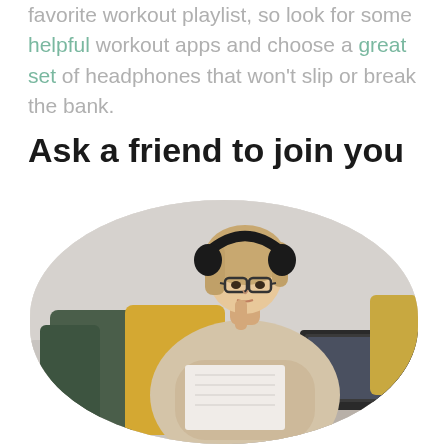favorite workout playlist, so look for some helpful workout apps and choose a great set of headphones that won't slip or break the bank.
Ask a friend to join you
[Figure (photo): A young woman with blonde hair wearing black over-ear headphones and glasses, sitting on a couch with green and yellow pillows, writing in a notebook while looking at an open laptop. She is wearing a beige knit sweater. The image is cropped in an oval/rounded rectangle shape.]